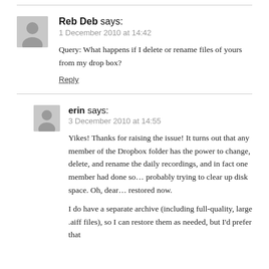Reb Deb says:
1 December 2010 at 14:42
Query: What happens if I delete or rename files of yours from my drop box?
Reply
erin says:
3 December 2010 at 14:55
Yikes! Thanks for raising the issue! It turns out that any member of the Dropbox folder has the power to change, delete, and rename the daily recordings, and in fact one member had done so… probably trying to clear up disk space. Oh, dear… restored now.
I do have a separate archive (including full-quality, large .aiff files), so I can restore them as needed, but I'd prefer that